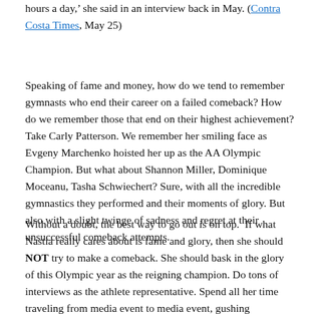hours a day,' she said in an interview back in May. (Contra Costa Times, May 25)
Speaking of fame and money, how do we tend to remember gymnasts who end their career on a failed comeback? How do we remember those that end on their highest achievement? Take Carly Patterson. We remember her smiling face as Evgeny Marchenko hoisted her up as the AA Olympic Champion. But what about Shannon Miller, Dominique Moceanu, Tasha Schwiechert? Sure, with all the incredible gymnastics they performed and their moments of glory. But also with a slight twinge of sadness and regret at their unsuccessful comeback attempts.
Without a doubt, the best way to go out is on top.  If what Nastia really cares about is fame and glory, then she should NOT try to make a comeback. She should bask in the glory of this Olympic year as the reigning champion. Do tons of interviews as the athlete representative. Spend all her time traveling from media event to media event, gushing